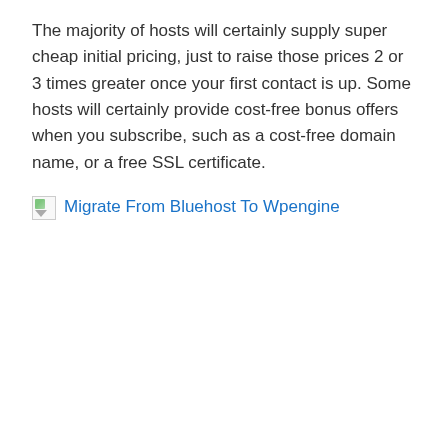The majority of hosts will certainly supply super cheap initial pricing, just to raise those prices 2 or 3 times greater once your first contact is up. Some hosts will certainly provide cost-free bonus offers when you subscribe, such as a cost-free domain name, or a free SSL certificate.
[Figure (illustration): Broken image icon followed by blue hyperlink text reading 'Migrate From Bluehost To Wpengine', with a large empty image placeholder area below]
While some hosts will certainly have the ability to offer better efficiency and high levels of security.